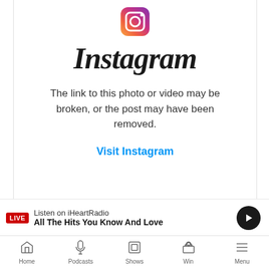[Figure (logo): Instagram gradient icon (camera-style icon with pink/orange/yellow gradient)]
Instagram
The link to this photo or video may be broken, or the post may have been removed.
Visit Instagram
LIVE  Listen on iHeartRadio
All The Hits You Know And Love
Home  Podcasts  Shows  Win  Menu